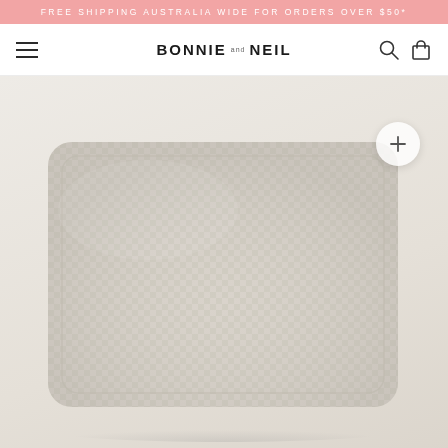FREE SHIPPING AUSTRALIA WIDE FOR ORDERS OVER $50*
BONNIE AND NEIL — navigation with hamburger menu, search and cart icons
[Figure (photo): A rectangular pillow/cushion with a small checkerboard or woven pattern in beige/cream tones, photographed on a light grey background from above at a slight angle. The pillow has a subtle two-tone check pattern.]